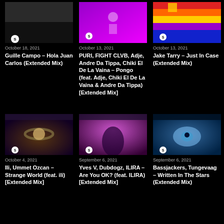[Figure (photo): Album art thumbnail - dark image]
October 18, 2021
Guille Campo – Hola Juan Carlos (Extended Mix)
[Figure (photo): Album art thumbnail - purple/magenta gradient]
October 13, 2021
PURI, FIGHT CLVB, Adje, Andre Da Tippa, Chiki El De La Vaina – Pongo (feat. Adje, Chiki El De La Vaina & Andre Da Tippa) [Extended Mix]
[Figure (photo): Album art thumbnail - red/orange/yellow/blue stripes]
October 13, 2021
Jake Tarry – Just In Case (Extended Mix)
[Figure (photo): Album art thumbnail - planet/saturn sci-fi scene]
October 4, 2021
Ili, Ummet Ozcan – Strange World (feat. ili) [Extended Mix]
[Figure (photo): Album art thumbnail - purple silhouette]
September 6, 2021
Yves V, Dubdogz, ILIRA – Are You OK? (feat. ILIRA) [Extended Mix]
[Figure (photo): Album art thumbnail - Written In The Stars eye illustration]
September 6, 2021
Bassjackers, Tungevaag – Written In The Stars (Extended Mix)